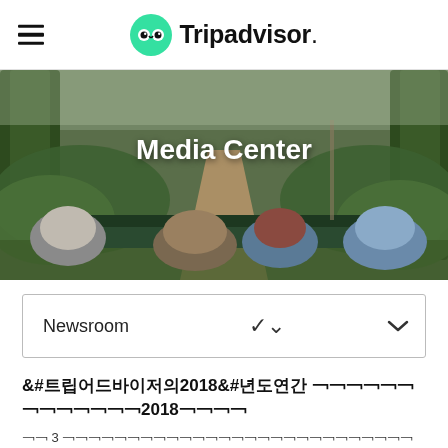Tripadvisor
[Figure (photo): Hero banner showing view from back of jeep on jungle trail with text 'Media Center']
Media Center
Newsroom ∨
트립어드바이저의2018년도연간
상위 3 개의다운로드항목과업계최고의리뷰사이트에대한개관